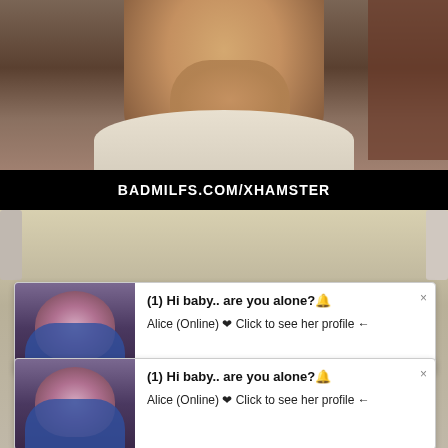[Figure (screenshot): Video thumbnail screenshot showing a blonde woman in a white shirt with hand near face, with black watermark bar showing BADMILFS.COM/XHAMSTER and a light blue category bar showing MILF]
BADMILFS.COM/XHAMSTER
MILF
[Figure (screenshot): Pop-up ad notification with female avatar in blue bikini, text: (1) Hi baby.. are you alone? Alice (Online) Click to see her profile]
(1) Hi baby.. are you alone?
Alice (Online) ❤ Click to see her profile ←
[Figure (screenshot): Second pop-up ad notification identical to first: (1) Hi baby.. are you alone? Alice (Online) Click to see her profile]
(1) Hi baby.. are you alone?
Alice (Online) ❤ Click to see her profile ←